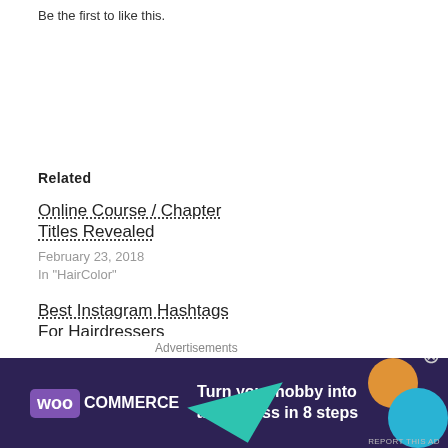Be the first to like this.
Related
Online Course / Chapter Titles Revealed
February 23, 2018
In "HairColor"
Best Instagram Hashtags For Hairdressers
June 20, 2017
In "HairColor"
Full Blonde to Shadow Rooted Blonde
April 30, 2017
In "HairColor"
Advertisements
[Figure (infographic): WooCommerce advertisement banner: 'Turn your hobby into a business in 8 steps' on dark purple background with teal, orange, and blue decorative shapes.]